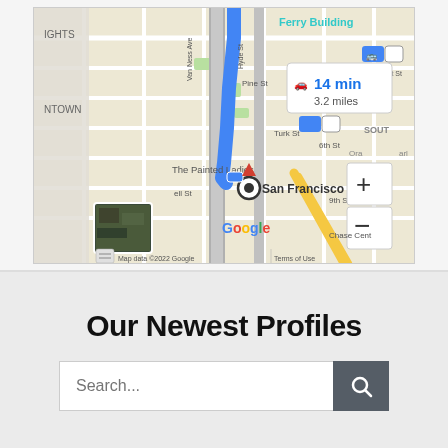[Figure (map): Google Maps screenshot showing San Francisco area with a route highlighted in blue, showing 14 min and 3.2 miles travel time. Locations visible include Ferry Building, The Painted Ladies, San Francisco marker, Chase Center. Map includes zoom controls (+/-), satellite thumbnail, keyboard icon, and footer text 'Map data ©2022 Google  Terms of Use'.]
Our Newest Profiles
Search...